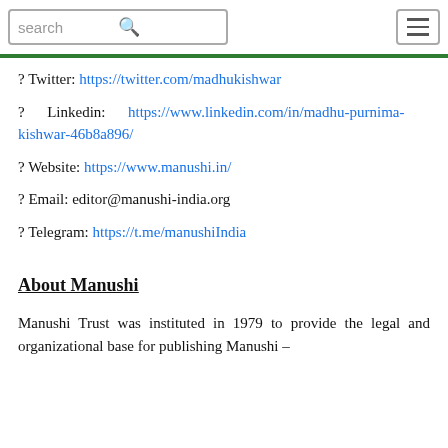search [search icon] [hamburger menu]
? Twitter: https://twitter.com/madhukishwar
? Linkedin: https://www.linkedin.com/in/madhu-purnima-kishwar-46b8a896/
? Website: https://www.manushi.in/
? Email: editor@manushi-india.org
? Telegram: https://t.me/manushiIndia
About Manushi
Manushi Trust was instituted in 1979 to provide the legal and organizational base for publishing Manushi – India's best Women & Society, which is a for publishing